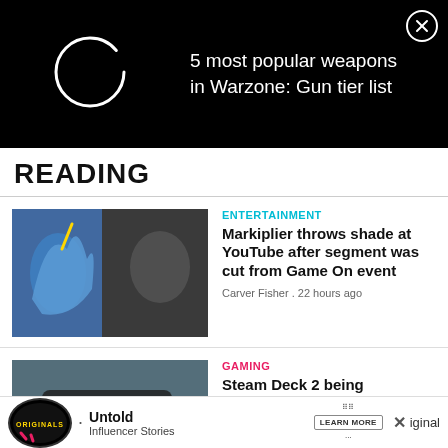[Figure (screenshot): Black ad banner with loading circle icon and text '5 most popular weapons in Warzone: Gun tier list' with close X button]
READING
[Figure (photo): Entertainment article thumbnail showing a blue bird creature and a man (Markiplier)]
ENTERTAINMENT
Markiplier throws shade at YouTube after segment was cut from Game On event
Carver Fisher . 22 hours ago
[Figure (photo): Gaming article thumbnail showing Steam Deck handheld device]
GAMING
Steam Deck 2 being
[Figure (screenshot): Bottom advertisement banner with Originals logo, Untold Influencer Stories text, Learn More button and close X]